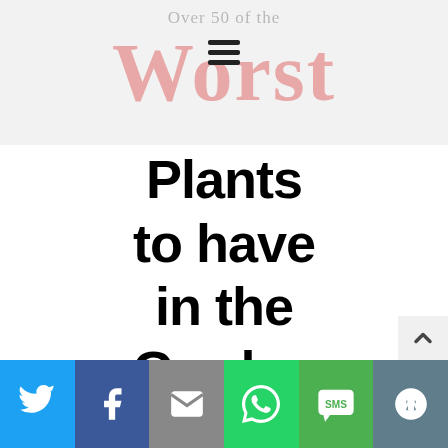Over 50 of the Worst
Plants to have in the Garden
[Figure (photo): Close-up photograph of honeysuckle plant with yellow and white flowers and green leaves]
Social share bar with Twitter, Facebook, Email, WhatsApp, SMS, and Share buttons